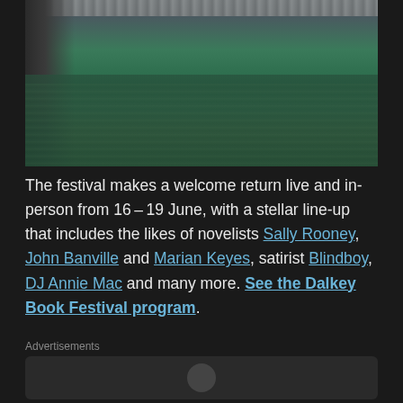[Figure (photo): Waterway scene with a bridge on the left side, green water with reflections of trees and buildings, lattice bridge structure visible at top left.]
The festival makes a welcome return live and in-person from 16–19 June, with a stellar line-up that includes the likes of novelists Sally Rooney, John Banville and Marian Keyes, satirist Blindboy, DJ Annie Mac and many more. See the Dalkey Book Festival program.
Advertisements